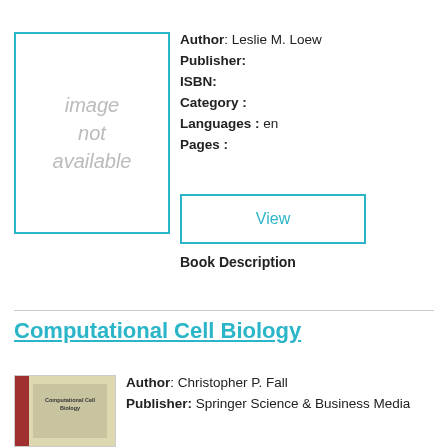[Figure (illustration): Book cover placeholder: grey box with italic text 'image not available', teal border]
Author: Leslie M. Loew
Publisher:
ISBN:
Category :
Languages : en
Pages :
View
Book Description
Computational Cell Biology
[Figure (illustration): Book cover thumbnail for Computational Cell Biology, showing a beige/green cover with red spine and title text]
Author: Christopher P. Fall
Publisher: Springer Science & Business Media